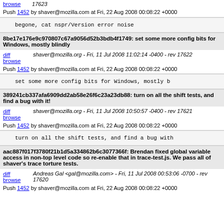browse    17623
Push 1452 by shaver@mozilla.com at Fri, 22 Aug 2008 00:08:22 +0000
begone, cat nspr/Version error noise
8be17e176e9c970807c67a9056d52b3bdb4f1749: set some more config bits for Windows, mostly blindly
diff browse    shaver@mozilla.org - Fri, 11 Jul 2008 11:02:14 -0400 - rev 17622
Push 1452 by shaver@mozilla.com at Fri, 22 Aug 2008 00:08:22 +0000
set some more config bits for Windows, mostly b
389241cb337afa6909dd2ab58e26f6c23a23db88: turn on all the shift tests, and find a bug with it!
diff browse    shaver@mozilla.org - Fri, 11 Jul 2008 10:50:57 -0400 - rev 17621
Push 1452 by shaver@mozilla.com at Fri, 22 Aug 2008 00:08:22 +0000
turn on all the shift tests, and find a bug with
aac887f017f3780f21b1d5a334862b6c3077366f: Brendan fixed global variable access in non-top level code so re-enable that in trace-test.js. We pass all of shaver's trace torture tests.
diff browse    Andreas Gal <gal@mozilla.com> - Fri, 11 Jul 2008 00:53:06 -0700 - rev 17620
Push 1452 by shaver@mozilla.com at Fri, 22 Aug 2008 00:08:22 +0000